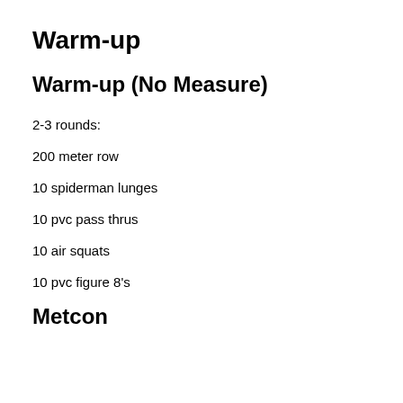Warm-up
Warm-up (No Measure)
2-3 rounds:
200 meter row
10 spiderman lunges
10 pvc pass thrus
10 air squats
10 pvc figure 8's
Metcon